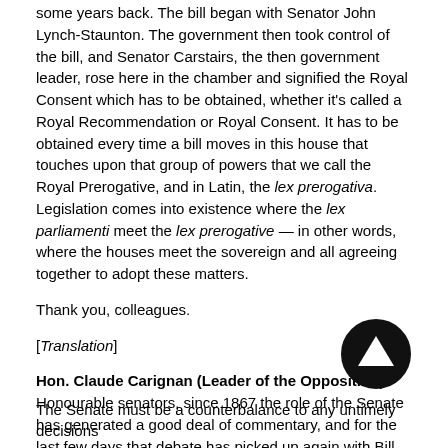some years back. The bill began with Senator John Lynch-Staunton. The government then took control of the bill, and Senator Carstairs, the then government leader, rose here in the chamber and signified the Royal Consent which has to be obtained, whether it's called a Royal Recommendation or Royal Consent. It has to be obtained every time a bill moves in this house that touches upon that group of powers that we call the Royal Prerogative, and in Latin, the lex prerogativa. Legislation comes into existence where the lex parliamenti meet the lex prerogative — in other words, where the houses meet the sovereign and all agreeing together to adopt these matters.
Thank you, colleagues.
[Translation]
Hon. Claude Carignan (Leader of the Opposition): Honourable senators, since 1867 the role of the Senate has generated a good deal of commentary, and for the last few days that debate has picked up again with Bill C-29.
Obviously I do not want to use this speech to trot out all the aspects of what a modern Senate should be, or all the roles we senators can or ought to play, but you will permit me all the same to make a few points.
The Senate must be a counterbalance to any untimely decisions...